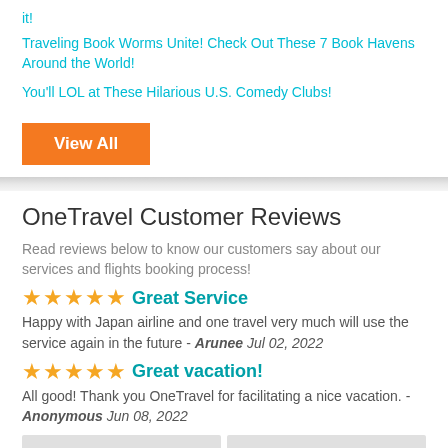it!
Traveling Book Worms Unite! Check Out These 7 Book Havens Around the World!
You'll LOL at These Hilarious U.S. Comedy Clubs!
View All
OneTravel Customer Reviews
Read reviews below to know our customers say about our services and flights booking process!
Great Service
Happy with Japan airline and one travel very much will use the service again in the future - Arunee Jul 02, 2022
Great vacation!
All good! Thank you OneTravel for facilitating a nice vacation. - Anonymous Jun 08, 2022